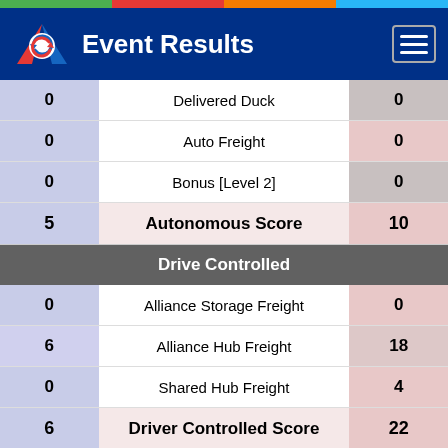Event Results
| Left Score | Category | Right Score |
| --- | --- | --- |
| 0 | Delivered Duck | 0 |
| 0 | Auto Freight | 0 |
| 0 | Bonus [Level 2] | 0 |
| 5 | Autonomous Score | 10 |
|  | Drive Controlled |  |
| 0 | Alliance Storage Freight | 0 |
| 6 | Alliance Hub Freight | 18 |
| 0 | Shared Hub Freight | 4 |
| 6 | Driver Controlled Score | 22 |
|  | Autonomous |  |
| 24 | Duck/Team Delivered | 0 |